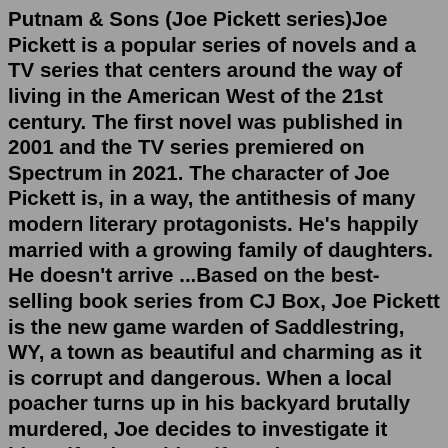Putnam & Sons (Joe Pickett series)Joe Pickett is a popular series of novels and a TV series that centers around the way of living in the American West of the 21st century. The first novel was published in 2001 and the TV series premiered on Spectrum in 2021. The character of Joe Pickett is, in a way, the antithesis of many modern literary protagonists. He's happily married with a growing family of daughters. He doesn't arrive ...Based on the best-selling book series from CJ Box, Joe Pickett is the new game warden of Saddlestring, WY, a town as beautiful and charming as it is corrupt and dangerous. When a local poacher turns up in his backyard brutally murdered, Joe decides to investigate it himself to keep his wife and young daughters safe. This sets off a chain of ...Original release. December 6, 2021. ( 2021-12-06) –. present. Joe Pickett is an American neo-Western crime drama television series based on characters created by novelist C.J. Box. The series is produced by Paramount and was initially released on Spectrum Originals, and then on Paramount+. [1] Amazon.com